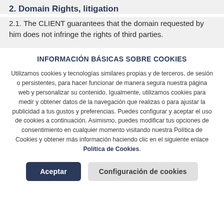2. Domain Rights, litigation
2.1. The CLIENT guarantees that the domain requested by him does not infringe the rights of third parties.
INFORMACIÓN BÁSICAS SOBRE COOKIES
Utilizamos cookies y tecnologías similares propias y de terceros, de sesión o persistentes, para hacer funcionar de manera segura nuestra página web y personalizar su contenido. Igualmente, utilizamos cookies para medir y obtener datos de la navegación que realizas o para ajustar la publicidad a tus gustos y preferencias. Puedes configurar y aceptar el uso de cookies a continuación. Asimismo, puedes modificar tus opciones de consentimiento en cualquier momento visitando nuestra Política de Cookies y obtener más información haciendo clic en el siguiente enlace Política de Cookies.
Aceptar | Configuración de cookies